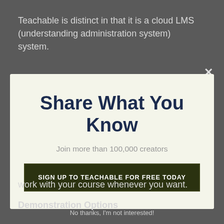Teachable is distinct in that it is a cloud LMS (understanding administration system) system.
Share What You Know
Join more than 100,000 creators
SIGN UP TO TEACHABLE FOR FREE TODAY
No thanks, I'm not interested!
work with your course whenever you want.
Demonstration Options